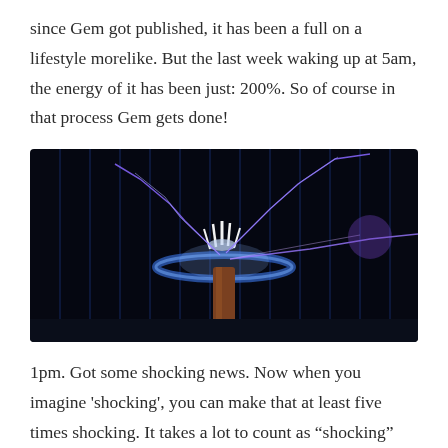since Gem got published, it has been a full on a lifestyle morelike. But the last week waking up at 5am, the energy of it has been just: 200%. So of course in that process Gem gets done!
[Figure (photo): A Tesla coil or high-voltage electrical device producing dramatic blue and purple lightning bolts against a dark background, with a cylindrical toroid on top of a copper-colored pole. Blue vertical lines visible in the background.]
1pm. Got some shocking news. Now when you imagine 'shocking', you can make that at least five times shocking. It takes a lot to count as “shocking” for me..